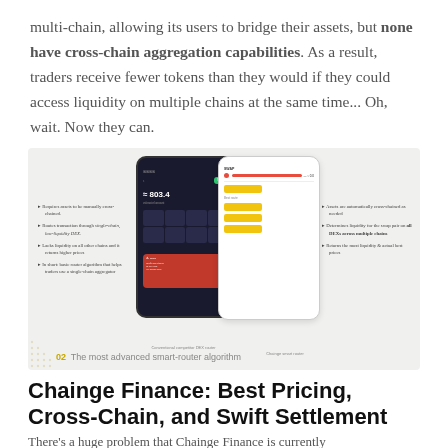multi-chain, allowing its users to bridge their assets, but none have cross-chain aggregation capabilities. As a result, traders receive fewer tokens than they would if they could access liquidity on multiple chains at the same time... Oh, wait. Now they can.
[Figure (screenshot): Comparison diagram showing two phone mockups side by side: left phone shows a dark-themed DEX interface with a red error state, labeled as a conventional competitor DEX router. Right phone shows a light-themed interface with yellow highlighted swap options, labeled as Chainge smart router. Annotations on left describe limitations (requires assets to be manually cross-chained, routes transactions through single-chain low-liquidity DEX, lacks liquidity on all other chains and returns higher prices, uses basic router algorithm for single-chain aggregation). Annotations on right describe advantages (assets are automatically cross-chained as needed, determines liquidity for the swap pair on all DEXs across multiple chains, returns the most liquidity and actual best prices). Caption below: '02 The most advanced smart-router algorithm'.]
02  The most advanced smart-router algorithm
Chainge Finance: Best Pricing, Cross-Chain, and Swift Settlement
There's a huge problem that Chainge Finance is currently